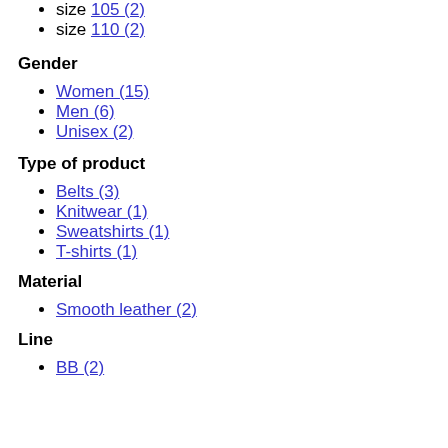size 105 (2)
size 110 (2)
Gender
Women (15)
Men (6)
Unisex (2)
Type of product
Belts (3)
Knitwear (1)
Sweatshirts (1)
T-shirts (1)
Material
Smooth leather (2)
Line
BB (2)